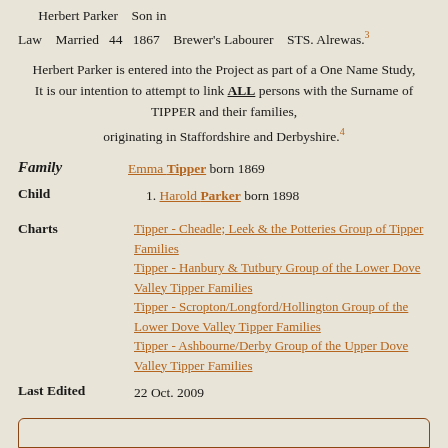Herbert Parker   Son in Law   Married   44   1867   Brewer's Labourer   STS. Alrewas.³
Herbert Parker is entered into the Project as part of a One Name Study,
It is our intention to attempt to link ALL persons with the Surname of TIPPER and their families,
originating in Staffordshire and Derbyshire.⁴
Family: Emma Tipper born 1869
Child: 1. Harold Parker born 1898
Charts: Tipper - Cheadle; Leek & the Potteries Group of Tipper Families
Tipper - Hanbury & Tutbury Group of the Lower Dove Valley Tipper Families
Tipper - Scropton/Longford/Hollington Group of the Lower Dove Valley Tipper Families
Tipper - Ashbourne/Derby Group of the Upper Dove Valley Tipper Families
Last Edited: 22 Oct. 2009